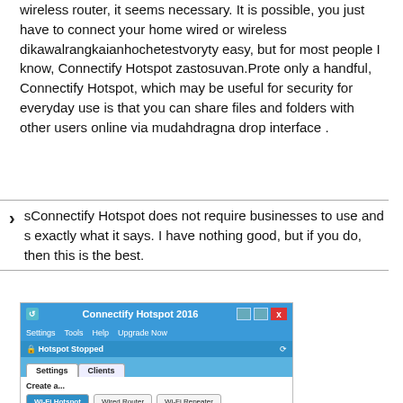wireless router, it seems necessary. It is possible, you just have to connect your home wired or wireless dikawalrangkaianhochetestvoryty easy, but for most people I know, Connectify Hotspot zastosuvan.Prote only a handful, Connectify Hotspot, which may be useful for security for everyday use is that you can share files and folders with other users online via mudahdragna drop interface .
sConnectify Hotspot does not require businesses to use and s exactly what it says. I have nothing good, but if you do, then this is the best.
[Figure (screenshot): Screenshot of Connectify Hotspot 2016 application window showing title bar with blue background, menu bar with Settings/Tools/Help/Upgrade Now options, Hotspot Stopped status, Settings and Clients tabs, Create a... section with Wi-Fi Hotspot, Wired Router, and Wi-Fi Repeater buttons]